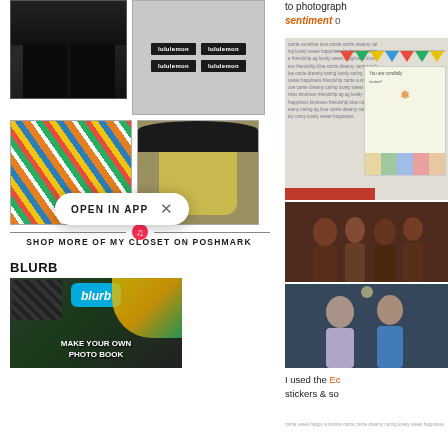[Figure (photo): Product grid showing athletic shorts (dark camo), lululemon labels, colorful patterned wide-leg pants, and a yellow tank top on mannequin]
[Figure (infographic): Open in App button with X close button overlay]
SHOP MORE OF MY CLOSET ON POSHMARK
BLURB
[Figure (photo): Blurb advertisement showing Make Your Own Photo Book]
to photograph
sentiment o
[Figure (photo): Scrapbook page with word cloud text and a party invitation card saying You are cordially invited]
[Figure (photo): Group photo 1 - people at an event]
[Figure (photo): Group photo 2 - couple in blue]
I used the Ec stickers & so